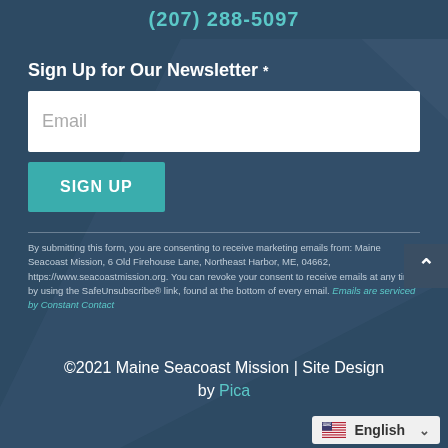(207) 288-5097
Sign Up for Our Newsletter *
[Figure (other): Email input text field with placeholder text 'Email']
[Figure (other): SIGN UP button in teal/green color]
By submitting this form, you are consenting to receive marketing emails from: Maine Seacoast Mission, 6 Old Firehouse Lane, Northeast Harbor, ME, 04662, https://www.seacoastmission.org. You can revoke your consent to receive emails at any time by using the SafeUnsubscribe® link, found at the bottom of every email. Emails are serviced by Constant Contact
©2021 Maine Seacoast Mission | Site Design by Pica
[Figure (other): Language selector showing US flag and 'English' with dropdown chevron]